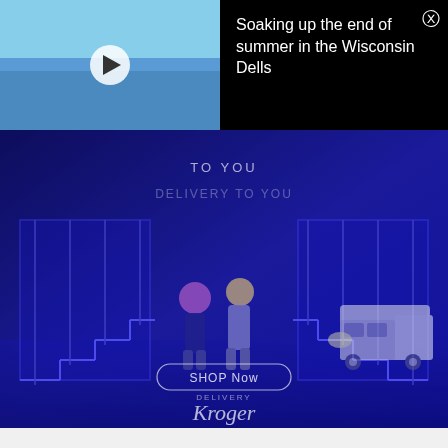[Figure (screenshot): Video thumbnail of a water park (Wisconsin Dells) with a play button overlay. Black banner background on the right shows the title text and a close (X) button.]
Soaking up the end of summer in the Wisconsin Dells
[Figure (screenshot): Advertisement overlay on top of a blue-lit indoor scene with staircases. Text reads 'TO YOU' at top, 'SHOP Now' button in center, and Kroger Delivery logo at bottom with partner brand logos (Pick'n Save, metro, markt).]
In addition to its handmade magical photo-ops, City Lounge will also host Disney-based trivia